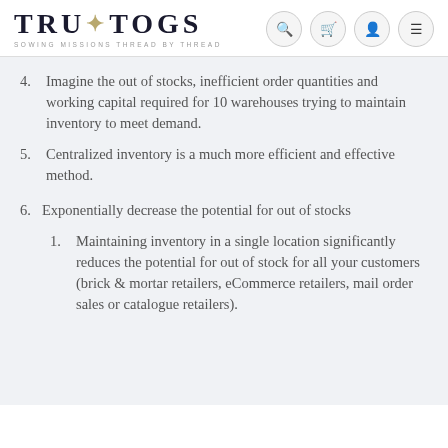TRUTOGS — SOWING MISSIONS THREAD BY THREAD
4. Imagine the out of stocks, inefficient order quantities and working capital required for 10 warehouses trying to maintain inventory to meet demand.
5. Centralized inventory is a much more efficient and effective method.
6. Exponentially decrease the potential for out of stocks
1. Maintaining inventory in a single location significantly reduces the potential for out of stock for all your customers (brick & mortar retailers, eCommerce retailers, mail order sales or catalogue retailers).